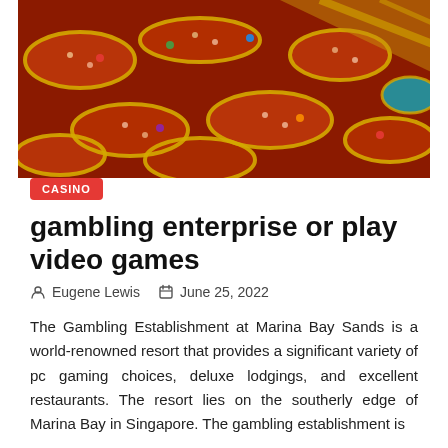[Figure (photo): Aerial view of a crowded casino floor with red tables and golden circular decorative elements, colorful game chips and players visible from above.]
CASINO
gambling enterprise or play video games
Eugene Lewis   June 25, 2022
The Gambling Establishment at Marina Bay Sands is a world-renowned resort that provides a significant variety of pc gaming choices, deluxe lodgings, and excellent restaurants. The resort lies on the southerly edge of Marina Bay in Singapore. The gambling establishment is